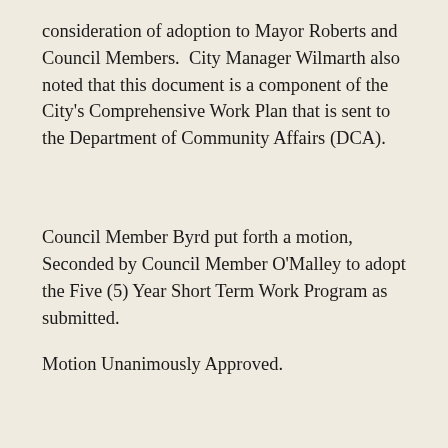consideration of adoption to Mayor Roberts and Council Members.  City Manager Wilmarth also noted that this document is a component of the City's Comprehensive Work Plan that is sent to the Department of Community Affairs (DCA).
Council Member Byrd put forth a motion, Seconded by Council Member O'Malley to adopt the Five (5) Year Short Term Work Program as submitted.
Motion Unanimously Approved.
Consider adoption of Capital Improvements Plan